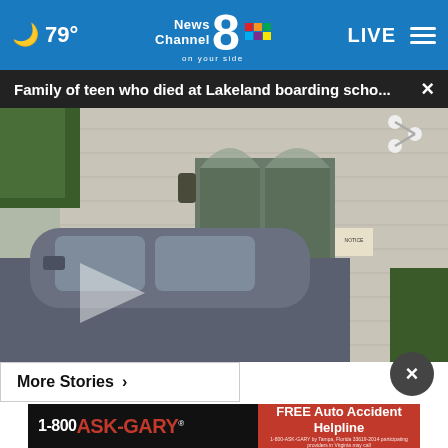🌙 79° | NewsChannel 8 on your side | LIVE
Family of teen who died at Lakeland boarding scho... ×
[Figure (screenshot): Video thumbnail showing a building entrance with a gray door, brick wall, and a dark car parked in front. A play button arrow is overlaid in the lower-left area. A share icon appears top-right.]
More Stories ›
[Figure (other): Advertisement banner: 1-800 ASK-GARY FREE Auto Accident Helpline]